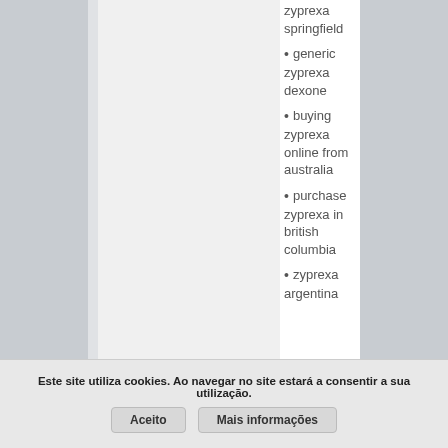zyprexa springfield
generic zyprexa dexone
buying zyprexa online from australia
purchase zyprexa in british columbia
zyprexa argentina
Este site utiliza cookies. Ao navegar no site estará a consentir a sua utilização.
Aceito
Mais informações